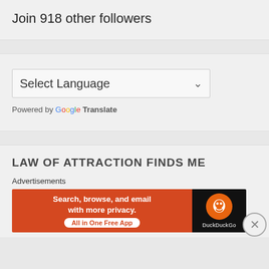Join 918 other followers
[Figure (screenshot): Google Translate widget with Select Language dropdown]
Powered by Google Translate
LAW OF ATTRACTION FINDS ME
Advertisements
[Figure (screenshot): DuckDuckGo advertisement banner: Search, browse, and email with more privacy. All in One Free App.]